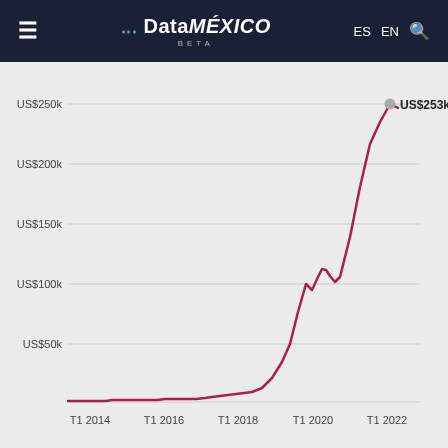DataMÉXICO BETA
[Figure (line-chart): Line chart showing values from T1 2014 to T1 2022, with a sharp rise to US$253k near T1 2022.]